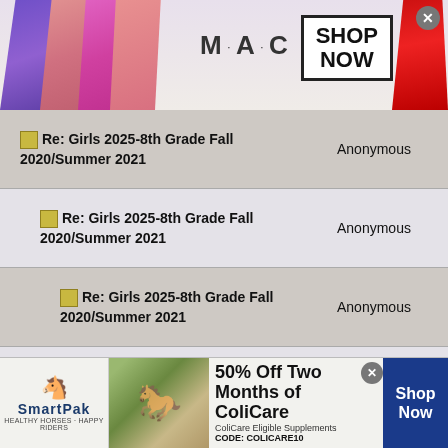[Figure (photo): MAC Cosmetics advertisement banner showing colorful lipsticks on left, MAC logo in center, SHOP NOW box on right, with red lipstick on far right. Close button visible.]
| Thread | Author |
| --- | --- |
| 🗂 Re: Girls 2025-8th Grade Fall 2020/Summer 2021 | Anonymous |
| 🗂 Re: Girls 2025-8th Grade Fall 2020/Summer 2021 | Anonymous |
| 🗂 Re: Girls 2025-8th Grade Fall 2020/Summer 2021 | Anonymous |
| 🗂 Re: Girls 2025-8th Grade Fall 2020/Summer 2021 | Anonymous |
| 🗂 Re: Girls 2025-8th Grade Fall 2020/Summer 2021 | Anonymous |
| 🗂 Re: Girls 2025-8th Grade Fall 2020/Summer 2021 | Anonymous |
| 🗂 Re: Girls 2025-8th Grade Fall 2020/Summer 2021 (partial) | Anonymous |
[Figure (photo): SmartPak advertisement banner: SmartPak logo on left, horse/rider product image in center, '50% Off Two Months of ColiCare, ColiCare Eligible Supplements, CODE: COLICARE10' text, and 'Shop Now' button on right. Close button visible.]